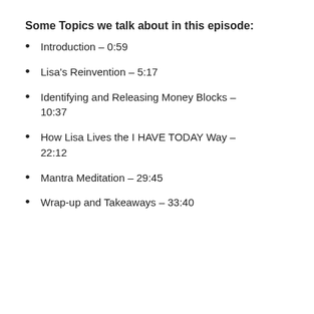Some Topics we talk about in this episode:
Introduction – 0:59
Lisa's Reinvention – 5:17
Identifying and Releasing Money Blocks – 10:37
How Lisa Lives the I HAVE TODAY Way – 22:12
Mantra Meditation – 29:45
Wrap-up and Takeaways – 33:40